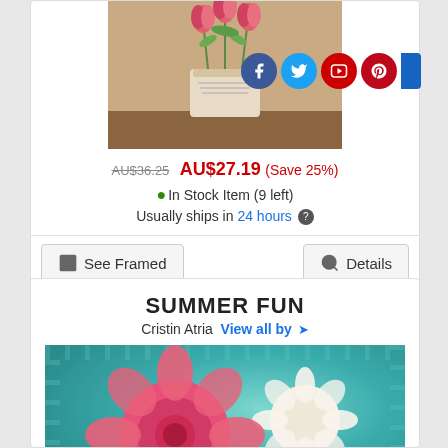[Figure (photo): Painting of pink tulips in a decorative vase/tin on a shelf, vintage style artwork]
AU$36.25 AU$27.19 (Save 25%)
In Stock Item (9 left)
Usually ships in 24 hours
See Framed
Details
SUMMER FUN
Cristin Atria  View all by ➤
[Figure (photo): Painting of pink and white ranunculus flowers against a teal/turquoise background]